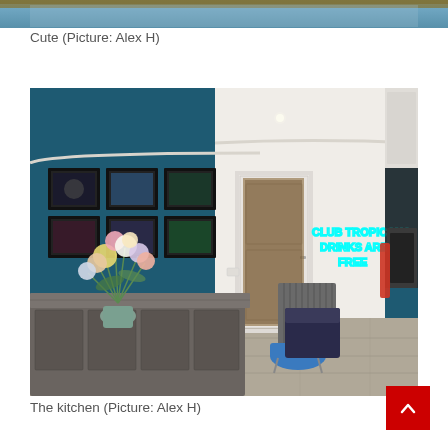[Figure (photo): Top portion of an interior image, cropped at the top of the page showing upper part of a room]
Cute (Picture: Alex H)
[Figure (photo): Kitchen interior with dark teal/blue walls, framed artwork gallery wall on left, white door in center background, cyan neon sign reading CLUB TROPICANA DRINKS ARE FREE on right wall, grey kitchen island/counter with flower arrangement in foreground, grey radiator, blue ottoman stool]
The kitchen (Picture: Alex H)